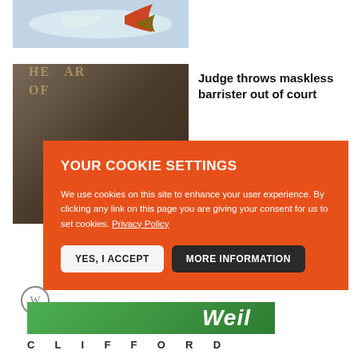[Figure (photo): Fish tail visible above water or snow surface, partial nature/wildlife photo]
[Figure (photo): Person in dark clothing in front of a building sign reading 'THE BAR' or similar legal institution]
Judge throws maskless barrister out of court
YOUR COOKIE SETTINGS
We use cookies on this site to enhance your user experience. By clicking any link on this page you are giving your consent for us to set cookies. Privacy Policy
YES, I ACCEPT
MORE INFORMATION
[Figure (logo): Weil green logo banner with white text 'Weil']
CLIFFORD